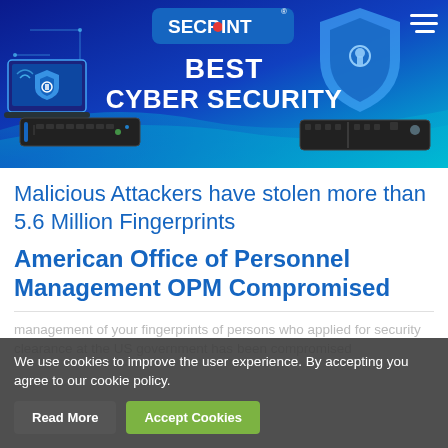[Figure (screenshot): SecPoint cybersecurity brand banner with blue gradient background, circuit patterns, laptop, shield with keyhole, network appliances, SECPOINT logo, and text 'BEST CYBER SECURITY']
Malicious Attackers have stolen more than 5.6 Million Fingerprints
American Office of Personnel Management OPM Compromised
We use cookies to improve the user experience. By accepting you agree to our cookie policy.
management of your fingerprints of persons who applied for security clearance at the US government has been compromised